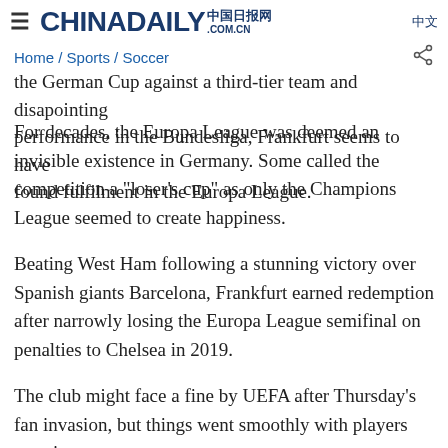CHINADAILY 中国日报网 .COM.CN
Home / Sports / Soccer
the German Cup against a third-tier team and disapointing performance in the Bundesliga, Frankfurt seems to have found fulfilment in the Europa League.
For decades, the Europa League was deemed an invisible existence in Germany. Some called the competition a "loser's cup" as only the Champions League seemed to create happiness.
Beating West Ham following a stunning victory over Spanish giants Barcelona, Frankfurt earned redemption after narrowly losing the Europa League semifinal on penalties to Chelsea in 2019.
The club might face a fine by UEFA after Thursday's fan invasion, but things went smoothly with players partying